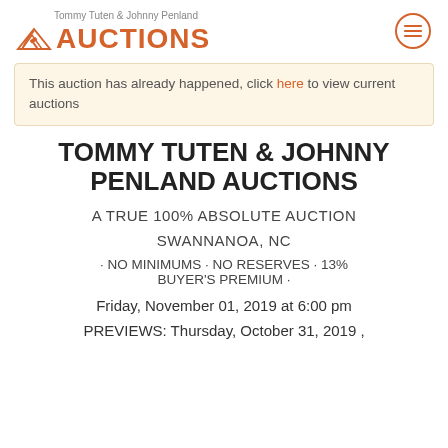Tommy Tuten & Johnny Penland AUCTIONS
This auction has already happened, click here to view current auctions
TOMMY TUTEN & JOHNNY PENLAND AUCTIONS
A TRUE 100% ABSOLUTE AUCTION
SWANNANOA, NC
· NO MINIMUMS · NO RESERVES · 13% BUYER'S PREMIUM ·
Friday, November 01, 2019 at 6:00 pm
PREVIEWS: Thursday, October 31, 2019 ,